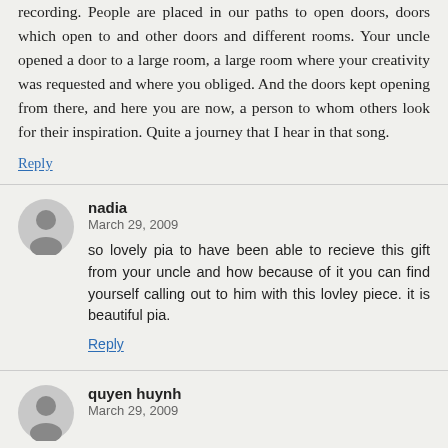recording. People are placed in our paths to open doors, doors which open to and other doors and different rooms. Your uncle opened a door to a large room, a large room where your creativity was requested and where you obliged. And the doors kept opening from there, and here you are now, a person to whom others look for their inspiration. Quite a journey that I hear in that song.
Reply
nadia
March 29, 2009
so lovely pia to have been able to recieve this gift from your uncle and how because of it you can find yourself calling out to him with this lovley piece. it is beautiful pia.
Reply
quyen huynh
March 29, 2009